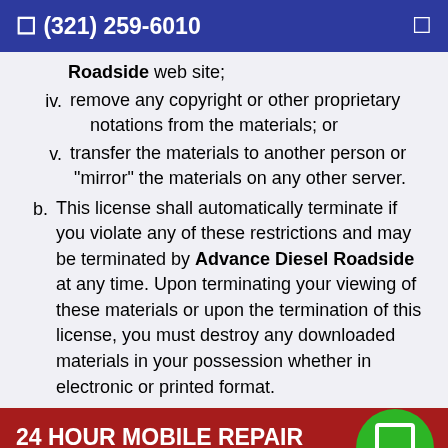☎ (321) 259-6010
Roadside web site;
iv. remove any copyright or other proprietary notations from the materials; or
v. transfer the materials to another person or "mirror" the materials on any other server.
b. This license shall automatically terminate if you violate any of these restrictions and may be terminated by Advance Diesel Roadside at any time. Upon terminating your viewing of these materials or upon the termination of this license, you must destroy any downloaded materials in your possession whether in electronic or printed format.
24 HOUR MOBILE REPAIR IN BREVARD COUNTY, FL
a. The materials on Advance Diesel Roadside web